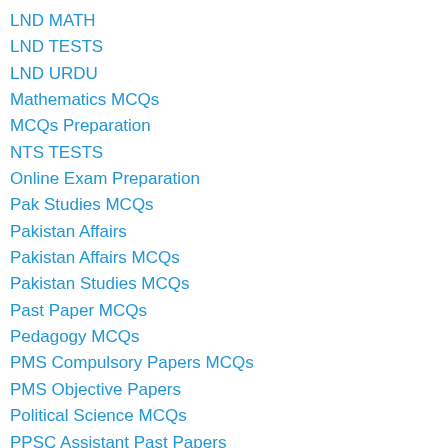LND MATH
LND TESTS
LND URDU
Mathematics MCQs
MCQs Preparation
NTS TESTS
Online Exam Preparation
Pak Studies MCQs
Pakistan Affairs
Pakistan Affairs MCQs
Pakistan Studies MCQs
Past Paper MCQs
Pedagogy MCQs
PMS Compulsory Papers MCQs
PMS Objective Papers
Political Science MCQs
PPSC Assistant Past Papers
PPSC Junior Clerk Jobs
PPSC Model Papers
PPSC Solved MCQs for Junior Clerks
PPSC Solved MCQs for Zilladar